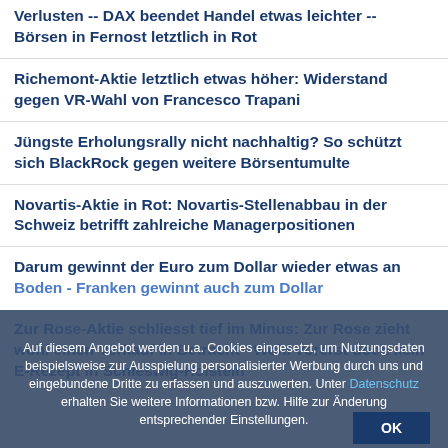Verlusten -- DAX beendet Handel etwas leichter -- Börsen in Fernost letztlich in Rot
Richemont-Aktie letztlich etwas höher: Widerstand gegen VR-Wahl von Francesco Trapani
Jüngste Erholungsrally nicht nachhaltig? So schützt sich BlackRock gegen weitere Börsentumulte
Novartis-Aktie in Rot: Novartis-Stellenabbau in der Schweiz betrifft zahlreiche Managerpositionen
Darum gewinnt der Euro zum Dollar wieder etwas an Boden - Franken gewinnt auch zum Dollar
Zur Rose-Aktie schliesst tief im Minus: Zur Rose zieht wohl einen Verkauf in Betracht - Wohl vorerst doch kein E-Rezept in Schleswig-Holstein
Alcon-Aktie leicht im Plus: Alcon kauft Aerie Pharmaceuticals für eine dreivierted Milliarden-Dollar - Aerie-Aktie +36 Prozent
Auf diesem Angebot werden u.a. Cookies eingesetzt, um Nutzungsdaten beispielsweise zur Ausspielung personalisierter Werbung durch uns und eingebundene Dritte zu erfassen und auszuwerten. Unter Datenschutz erhalten Sie weitere Informationen bzw. Hilfe zur Änderung entsprechender Einstellungen.